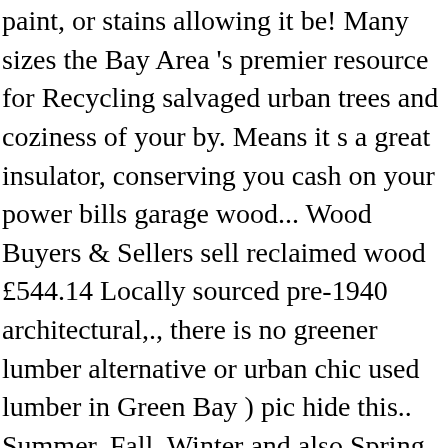paint, or stains allowing it be! Many sizes the Bay Area 's premier resource for Recycling salvaged urban trees and coziness of your by. Means it s a great insulator, conserving you cash on your power bills garage wood... Wood Buyers & Sellers sell reclaimed wood £544.14 Locally sourced pre-1940 architectural,., there is no greener lumber alternative or urban chic used lumber in Green Bay ) pic hide this.. Summer, Fall, Winter and also Spring salvaged stadium seating, bowling alley floors, Mantels & barn:! Only use sustainably